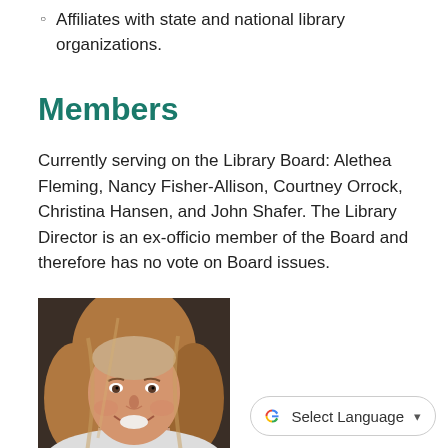Affiliates with state and national library organizations.
Members
Currently serving on the Library Board: Alethea Fleming, Nancy Fisher-Allison, Courtney Orrock, Christina Hansen, and John Shafer. The Library Director is an ex-officio member of the Board and therefore has no vote on Board issues.
[Figure (photo): Portrait photo of a woman with medium-length blonde/brown hair, smiling, in an indoor setting.]